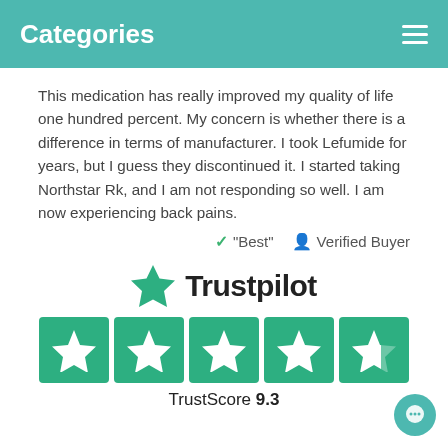Categories
This medication has really improved my quality of life one hundred percent. My concern is whether there is a difference in terms of manufacturer. I took Lefumide for years, but I guess they discontinued it. I started taking Northstar Rk, and I am not responding so well. I am now experiencing back pains.
✓ "Best"   👤 Verified Buyer
[Figure (logo): Trustpilot logo with green star and bold black Trustpilot text, followed by five green star rating boxes and TrustScore 9.3 text]